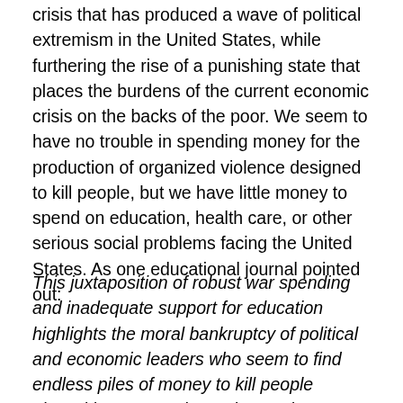crisis that has produced a wave of political extremism in the United States, while furthering the rise of a punishing state that places the burdens of the current economic crisis on the backs of the poor. We seem to have no trouble in spending money for the production of organized violence designed to kill people, but we have little money to spend on education, health care, or other serious social problems facing the United States. As one educational journal pointed out:
This juxtaposition of robust war spending and inadequate support for education highlights the moral bankruptcy of political and economic leaders who seem to find endless piles of money to kill people abroad but not much to educate them at home. And, of course, the relationship is plain: The more dollars spent on war, the fewer available for human needs – whether alternative energy, food